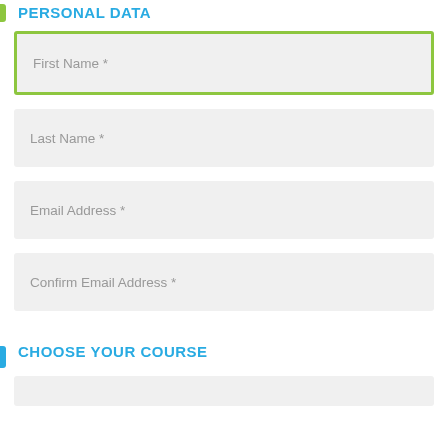PERSONAL DATA
First Name *
Last Name *
Email Address *
Confirm Email Address *
CHOOSE YOUR COURSE